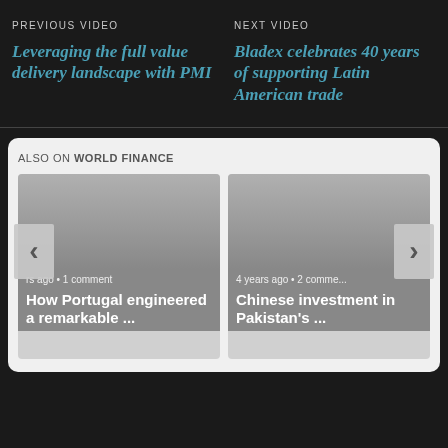PREVIOUS VIDEO
Leveraging the full value delivery landscape with PMI
NEXT VIDEO
Bladex celebrates 40 years of supporting Latin American trade
ALSO ON WORLD FINANCE
rs ago • 1 comment
How Portugal engineered a remarkable ...
4 years ago • 2 comments
Chinese investment in Pakistan's ...